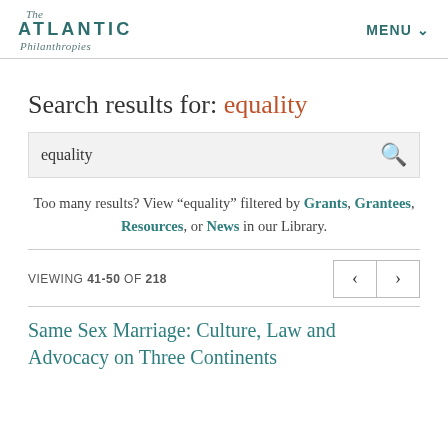The Atlantic Philanthropies  MENU
Search results for: equality
equality [search box]
Too many results? View “equality” filtered by Grants, Grantees, Resources, or News in our Library.
VIEWING 41-50 OF 218
Same Sex Marriage: Culture, Law and Advocacy on Three Continents